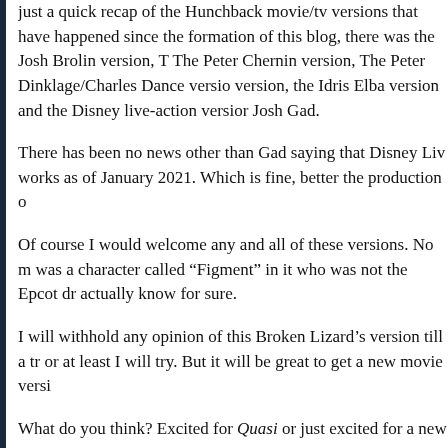just a quick recap of the Hunchback movie/tv versions that have happened since the formation of this blog, there was the Josh Brolin version, The Peter Chernin version, The Peter Dinklage/Charles Dance version, version, the Idris Elba version and the Disney live-action version Josh Gad.
There has been no news other than Gad saying that Disney Liv works as of January 2021. Which is fine, better the production o
Of course I would welcome any and all of these versions. No m was a character called “Figment” in it who was not the Epcot dr actually know for sure.
I will withhold any opinion of this Broken Lizard’s version till a tr or at least I will try. But it will be great to get a new movie versi
What do you think? Excited for Quasi or just excited for a new v